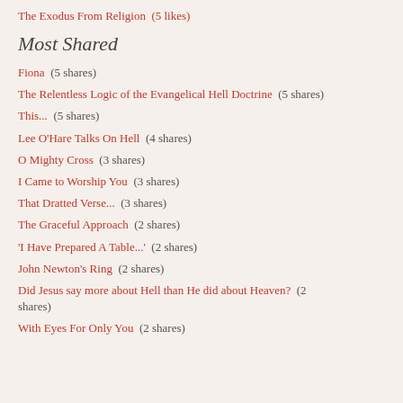The Exodus From Religion  (5 likes)
Most Shared
Fiona  (5 shares)
The Relentless Logic of the Evangelical Hell Doctrine  (5 shares)
This...  (5 shares)
Lee O'Hare Talks On Hell  (4 shares)
O Mighty Cross  (3 shares)
I Came to Worship You  (3 shares)
That Dratted Verse...  (3 shares)
The Graceful Approach  (2 shares)
'I Have Prepared A Table...'  (2 shares)
John Newton's Ring  (2 shares)
Did Jesus say more about Hell than He did about Heaven?  (2 shares)
With Eyes For Only You  (2 shares)